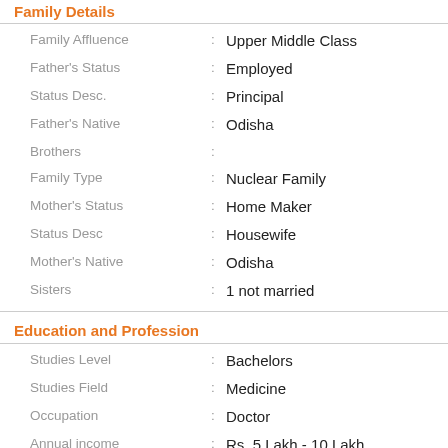Family Details
| Field | : | Value |
| --- | --- | --- |
| Family Affluence | : | Upper Middle Class |
| Father's Status | : | Employed |
| Status Desc. | : | Principal |
| Father's Native | : | Odisha |
| Brothers | : |  |
| Family Type | : | Nuclear Family |
| Mother's Status | : | Home Maker |
| Status Desc | : | Housewife |
| Mother's Native | : | Odisha |
| Sisters | : | 1 not married |
Education and Profession
| Field | : | Value |
| --- | --- | --- |
| Studies Level | : | Bachelors |
| Studies Field | : | Medicine |
| Occupation | : | Doctor |
| Annual income | : | Rs. 5 Lakh - 10 Lakh |
| About Education | : |  |
MBBS ( Intern )
MKCG Medical College , Berhampur , Odisha